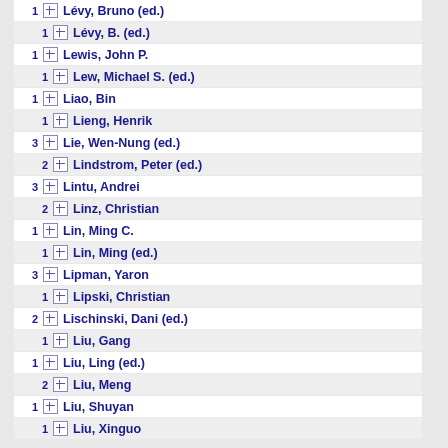1 Lévy, Bruno (ed.)
1 Lévy, B. (ed.)
1 Lewis, John P.
1 Lew, Michael S. (ed.)
1 Liao, Bin
1 Lieng, Henrik
3 Lie, Wen-Nung (ed.)
2 Lindstrom, Peter (ed.)
3 Lintu, Andrei
2 Linz, Christian
1 Lin, Ming C.
1 Lin, Ming (ed.)
3 Lipman, Yaron
1 Lipski, Christian
2 Lischinski, Dani (ed.)
1 Liu, Gang
1 Liu, Ling (ed.)
2 Liu, Meng
1 Liu, Shuyan
1 Liu, Xinguo
5 Liu, Yebin
2 Liu, Yunjun